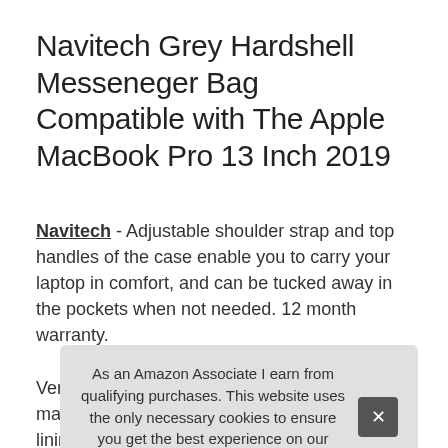Navitech Grey Hardshell Messeneger Bag Compatible with The Apple MacBook Pro 13 Inch 2019
Navitech - Adjustable shoulder strap and top handles of the case enable you to carry your laptop in comfort, and can be tucked away in the pockets when not needed. 12 month warranty.
More information
Veri mat linin and bump/shock. Internal sections for notepads and
As an Amazon Associate I earn from qualifying purchases. This website uses the only necessary cookies to ensure you get the best experience on our website. More information